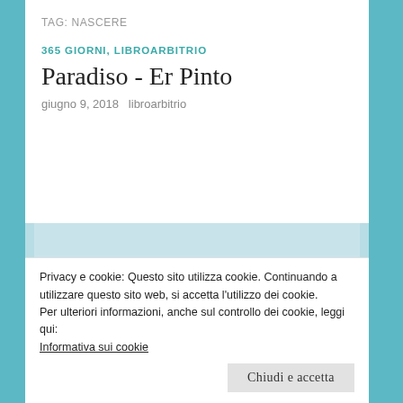TAG: NASCERE
365 GIORNI, LIBROARBITRIO
Paradiso - Er Pinto
giugno 9, 2018   libroarbitrio
[Figure (photo): Horizontal painting depicting the Garden of Earthly Delights by Hieronymus Bosch — fantastical figures, creatures, and structures in a surreal landscape with blue sky and green ground.]
Privacy e cookie: Questo sito utilizza cookie. Continuando a utilizzare questo sito web, si accetta l'utilizzo dei cookie.
Per ulteriori informazioni, anche sul controllo dei cookie, leggi qui:
Informativa sui cookie
Chiudi e accetta